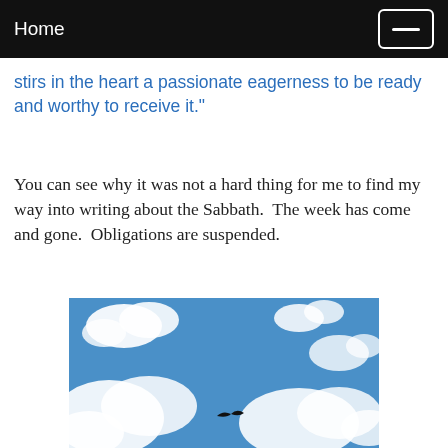Home
stirs in the heart a passionate eagerness to be ready and worthy to receive it."
You can see why it was not a hard thing for me to find my way into writing about the Sabbath.  The week has come and gone.  Obligations are suspended.
[Figure (photo): Blue sky with scattered white clouds and a small black bird silhouette near the bottom center of the frame.]